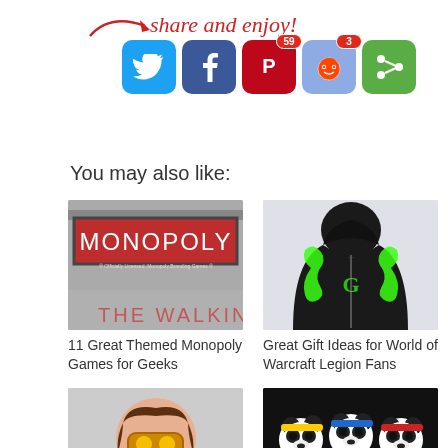[Figure (infographic): Share and enjoy! social sharing buttons for Twitter, Facebook (59), Pinterest, Reddit (3), and a green share button with arrow graphic]
You may also like:
[Figure (photo): Monopoly themed board game box with The Walking Dead overlay text]
11 Great Themed Monopoly Games for Geeks
[Figure (photo): Black hoodie with green glowing dragon design for World of Warcraft Legion]
Great Gift Ideas for World of Warcraft Legion Fans
[Figure (photo): Overwatch Tracer Funko Pop figure with goggles]
Great Overwatch Gift Ideas - The Latest Game from Blizzard
[Figure (photo): Three panda characters in gym attire with yellow, blue, and red headbands on black background with GYM overlay text]
Great Gift Ideas for